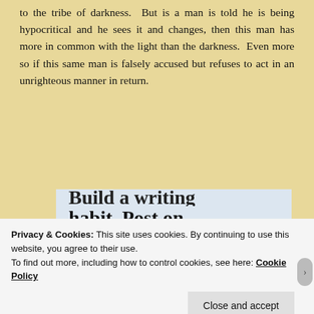to the tribe of darkness.  But is a man is told he is being hypocritical and he sees it and changes, then this man has more in common with the light than the darkness.  Even more so if this same man is falsely accused but refuses to act in an unrighteous manner in return.
[Figure (screenshot): WordPress app advertisement showing partially cropped bold text 'Build a writing habit. Post on the go.' with 'GET THE APP' link in blue and WordPress logo icon]
Privacy & Cookies: This site uses cookies. By continuing to use this website, you agree to their use. To find out more, including how to control cookies, see here: Cookie Policy
Close and accept